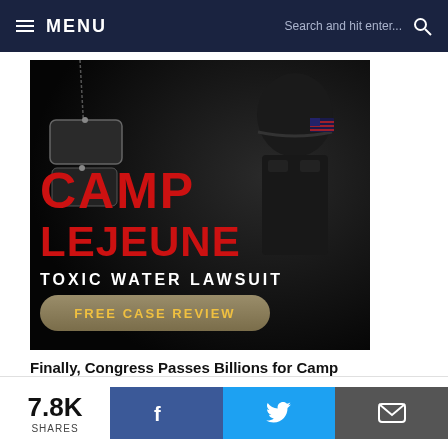MENU | Search and hit enter...
[Figure (photo): Camp Lejeune Toxic Water Lawsuit advertisement banner showing a soldier in tactical gear with dog tags, red bold text reading CAMP LEJEUNE, white text TOXIC WATER LAWSUIT, and a gold FREE CASE REVIEW button]
Finally, Congress Passes Billions for Camp Lejeune Families
TruLaw
Recommended by Outbrain
7.8K SHARES